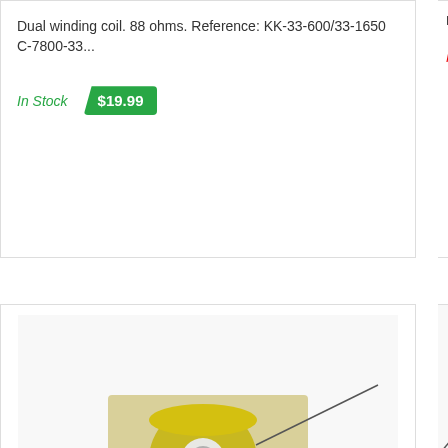Dual winding coil. 88 ohms. Reference: KK-33-600/33-1650 C-7800-33...
In Stock
$19.99
[Figure (photo): Yellow spool/coil component with mounting bracket and wires, pinball machine kicker coil CCM]
Coil - large kicker coil CCM
#K-2876
Coil - large kicker coil CCM
Co...
#K...
Du... Re... 78...